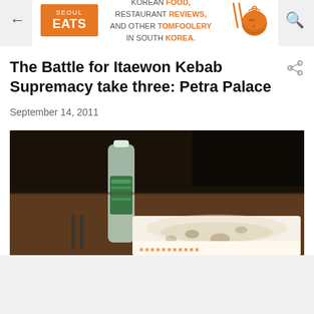← [Seoul Eats logo] KOREAN FOOD, RESTAURANT REVIEWS, AND OTHER TOMFOOLERY IN SOUTH KOREA. [search icon]
The Battle for Itaewon Kebab Supremacy take three: Petra Palace
September 14, 2011
[Figure (photo): Photo of a kebab wrap in branded paper wrapper on a table, with a water bottle nearby, taken in a dark restaurant setting.]